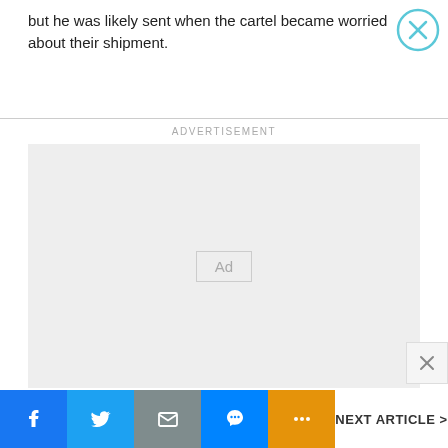but he was likely sent when the cartel became worried about their shipment.
[Figure (other): Advertisement placeholder box with 'Ad' label in center, and ADVERTISEMENT text header above]
NEXT ARTICLE >